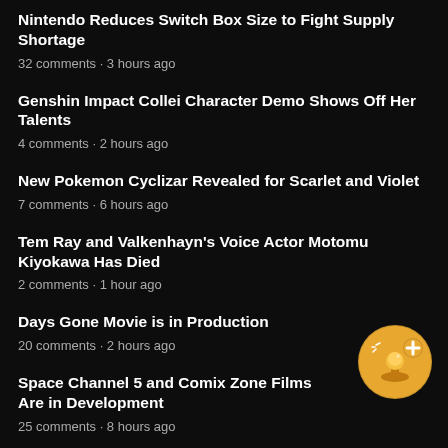Nintendo Reduces Switch Box Size to Fight Supply Shortage
32 comments · 3 hours ago
Genshin Impact Collei Character Demo Shows Off Her Talents
4 comments · 2 hours ago
New Pokemon Cyclizar Revealed for Scarlet and Violet
7 comments · 6 hours ago
Tem Ray and Valkenhayn's Voice Actor Motomu Kiyokawa Has Died
2 comments · 1 hour ago
Days Gone Movie is in Production
20 comments · 2 hours ago
Space Channel 5 and Comix Zone Films Are in Development
25 comments · 8 hours ago
[Figure (logo): Golden circular badge with joystick and plus icon]
More popular stories